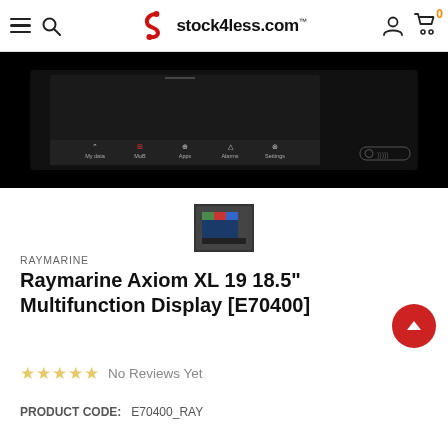stock4less.com
[Figure (photo): Raymarine Axiom XL 19 multifunction display showing dark screen with nav menu icons: My data, MoB, Apps, Alarms, Settings]
[Figure (photo): Small thumbnail image of the Raymarine Axiom XL 19 display]
RAYMARINE
Raymarine Axiom XL 19 18.5" Multifunction Display [E70400]
No Reviews Yet
PRODUCT CODE: E70400_RAY